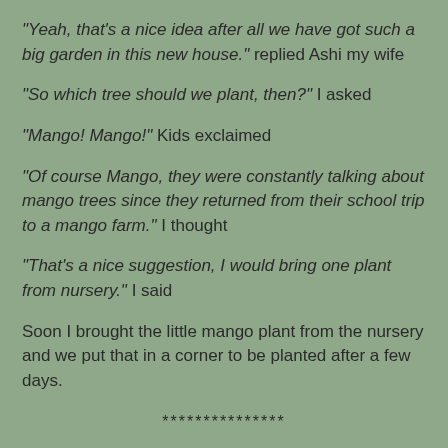"Yeah, that's a nice idea after all we have got such a big garden in this new house." replied Ashi my wife
"So which tree should we plant, then?" I asked
"Mango! Mango!" Kids exclaimed
"Of course Mango, they were constantly talking about mango trees since they returned from their school trip to a mango farm." I thought
"That's a nice suggestion, I would bring one plant from nursery." I said
Soon I brought the little mango plant from the nursery and we put that in a corner to be planted after a few days.
***************
"Dad we are planting the tree now, come home early." Informed my kids over the phone they were ecstatic